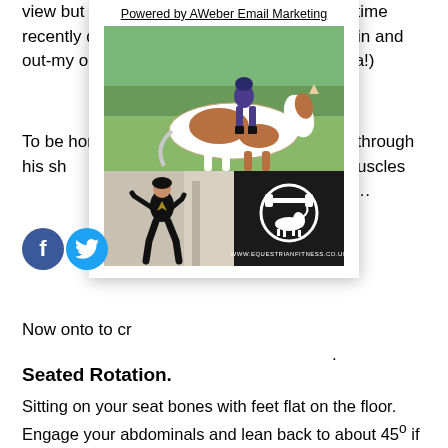view but also f… ir bit of time recently doing … to spiral in and out-my oblique… s Amanda!)
To be honest th… falls out through his sh… ng on your waist muscles… o correct it……………………….
[Figure (photo): Popup card with AWeber link at top, showing two photos: upper photo of a rider on a pinto horse outdoors, lower left photo of a woman in black doing a wall exercise, lower right logo of Equestrian Fitness with barbell and horse graphic and URL www.equestrianfitness.co.uk]
Now onto to cr… .
Seated Rotation.
Sitting on your seat bones with feet flat on the floor. Engage your abdominals and lean back to about 45° if you can. Your spine must stay straight, and not curve as you do this. Take your hands to shoulder height in front of you and make a "Charlies Angels Gun" (it doesn’t work if you don’t…….). Keeping your spine straight and your feet and knees still